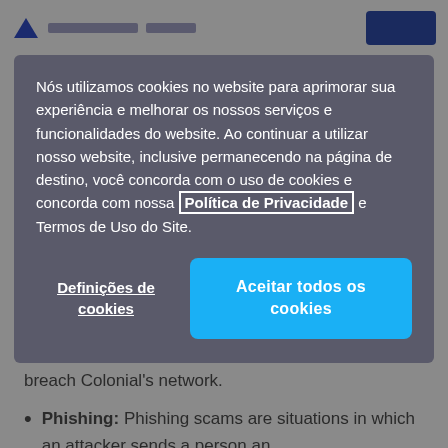[Figure (screenshot): Partial website header with logo triangle icon and dark blue navigation button, partially visible behind cookie consent overlay]
Nós utilizamos cookies no website para aprimorar sua experiência e melhorar os nossos serviços e funcionalidades do website. Ao continuar a utilizar nosso website, inclusive permanecendo na página de destino, você concorda com o uso de cookies e concorda com nossa Política de Privacidade e Termos de Uso do Site.
Definições de cookies
Aceitar todos os cookies
authentication, making it easy for the hackers to breach Colonial's network.
Phishing: Phishing scams are situations in which an attacker sends a person an